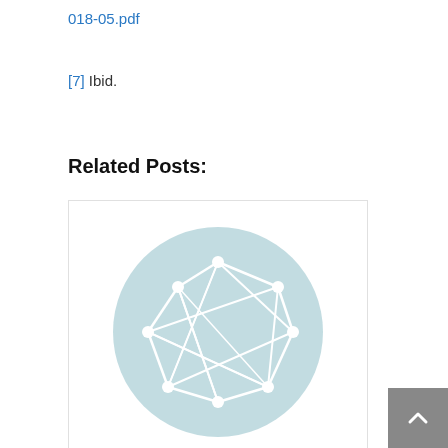018-05.pdf
[7] Ibid.
Related Posts:
[Figure (illustration): A network graph icon showing interconnected nodes forming a polygon shape on a light teal circular background, used as a placeholder image for a related post.]
Racism is not dead
Miscellaneous
income inequality, interest rate
< Applying Nudge Theory to increase health and